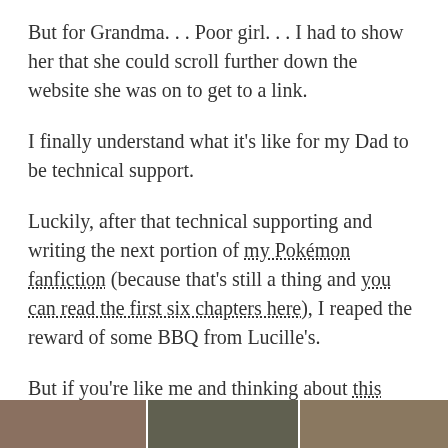But for Grandma. . . Poor girl. . . I had to show her that she could scroll further down the website she was on to get to a link.
I finally understand what it's like for my Dad to be technical support.
Luckily, after that technical supporting and writing the next portion of my Pokémon fanfiction (because that's still a thing and you can read the first six chapters here), I reaped the reward of some BBQ from Lucille's.
But if you're like me and thinking about this Lucille's, you'd be wrong.
We went to THIS Lucille's, which also happens to be a BBQ restaurant chain.
[Figure (photo): Three side-by-side photos at the bottom of the page, partially cropped.]